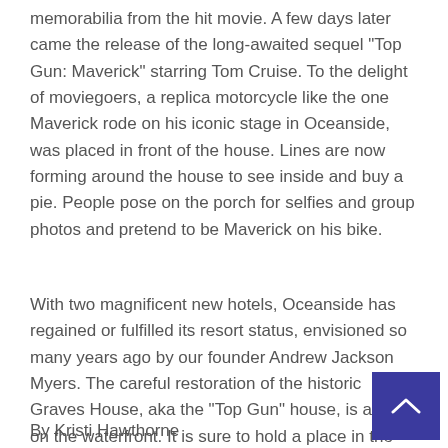memorabilia from the hit movie. A few days later came the release of the long-awaited sequel "Top Gun: Maverick" starring Tom Cruise. To the delight of moviegoers, a replica motorcycle like the one Maverick rode on his iconic stage in Oceanside, was placed in front of the house. Lines are now forming around the house to see inside and buy a pie. People pose on the porch for selfies and group photos and pretend to be Maverick on his bike.
With two magnificent new hotels, Oceanside has regained or fulfilled its resort status, envisioned so many years ago by our founder Andrew Jackson Myers. The careful restoration of the historic Graves House, aka the "Top Gun" house, is a gem on the waterfront. It is sure to hold a place in the hearts of locals as well as movie buffs for many years to
By Kristi Hawthorne